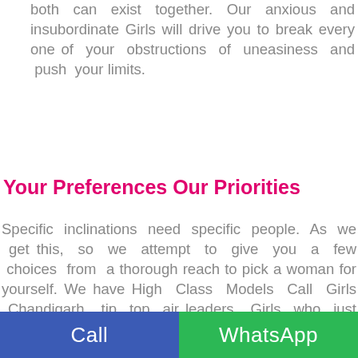both can exist together. Our anxious and insubordinate Girls will drive you to break every one of your obstructions of uneasiness and push your limits.
Your Preferences Our Priorities
Specific inclinations need specific people. As we get this, so we attempt to give you a few choices from a thorough reach to pick a woman for yourself. We have High Class Models Call Girls Chandigarh, tip top air leaders, Girls who just entered school, Girls who just passed school, heartfelt housewife Escorts, lively virgins and some more. Various Girls have various claims to fame. Some are totally relaxed, while others like it hard and wild, some are lively and inviting and
Call | WhatsApp